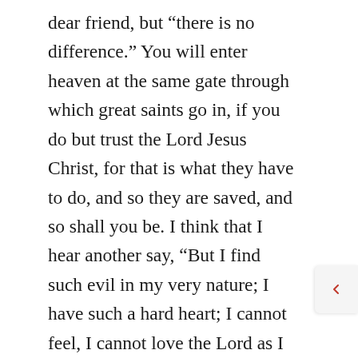dear friend, but “there is no difference.” You will enter heaven at the same gate through which great saints go in, if you do but trust the Lord Jesus Christ, for that is what they have to do, and so they are saved, and so shall you be. I think that I hear another say, “But I find such evil in my very nature; I have such a hard heart; I cannot feel, I cannot love the Lord as I want to.” Yes, I know all about it, and I am very sorry for you; but, my dear friend, “there is no difference.” You believe that there are some Christians who are very